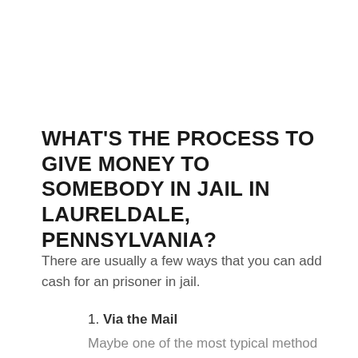WHAT'S THE PROCESS TO GIVE MONEY TO SOMEBODY IN JAIL IN LAURELDALE, PENNSYLVANIA?
There are usually a few ways that you can add cash for an prisoner in jail.
1. Via the Mail
Maybe one of the most typical method